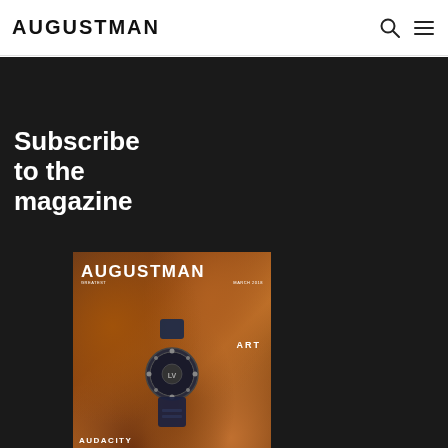AUGUSTMAN
Subscribe to the magazine
[Figure (photo): August Man magazine cover showing a Louis Vuitton watch on a rocky/brick background with text: AUGUSTMAN, ART, AUDACITY, EXCLUSIVITY]